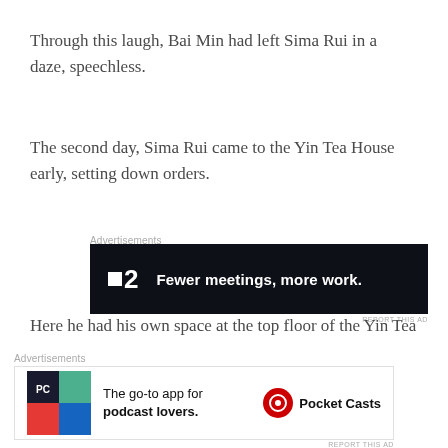Through this laugh, Bai Min had left Sima Rui in a daze, speechless.
The second day, Sima Rui came to the Yin Tea House early, setting down orders.
Advertisements
[Figure (other): Advertisement banner for P2 app: dark background with logo and tagline 'Fewer meetings, more work.']
Here he had his own space at the top floor of the Yin Tea House, with a view of the flowing river, along with a thousand sails and swans. To be honest, Sima Rui was
Advertisements
[Figure (other): Advertisement banner for Pocket Casts: 'The go-to app for podcast lovers.']